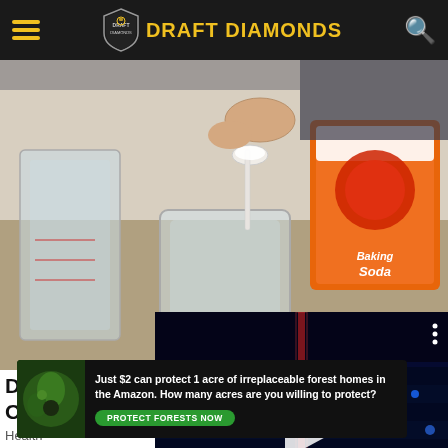DRAFT DIAMONDS
[Figure (photo): Person spooning baking soda (Arm & Hammer) into a glass jar, with measuring cups in background]
[Figure (screenshot): Video player overlay showing a stadium with blue lights, play button, mute icon, progress bar with blue dot, and fullscreen icon]
Drink This Before Be... Crazy
Health
[Figure (infographic): Advertisement banner: Just $2 can protect 1 acre of irreplaceable forest homes in the Amazon. How many acres are you willing to protect? PROTECT FORESTS NOW]